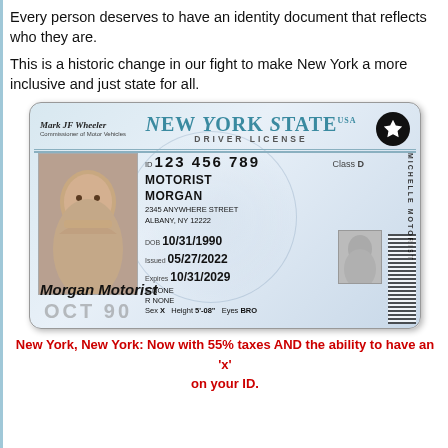Every person deserves to have an identity document that reflects who they are.
This is a historic change in our fight to make New York a more inclusive and just state for all.
[Figure (photo): New York State Driver License sample showing a non-binary 'X' gender marker. Card shows: ID 123 456 789, Class D, MOTORIST MORGAN, 2345 ANYWHERE STREET, ALBANY, NY 12222, DOB 10/31/1990, Issued 05/27/2022, Expires 10/31/2029, E NONE, R NONE, Sex X, Height 5'-08", Eyes BRO]
New York, New York: Now with 55% taxes AND the ability to have an 'x' on your ID.